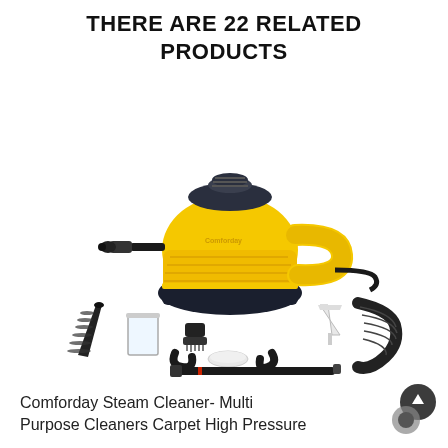THERE ARE 22 RELATED PRODUCTS
[Figure (photo): Product photo of a Comforday handheld steam cleaner (yellow and black body) with multiple attachments including cone nozzle, funnel, brush heads, hose, and two floor cleaning tools laid out on a white background.]
Comforday Steam Cleaner- Multi Purpose Cleaners Carpet High Pressure